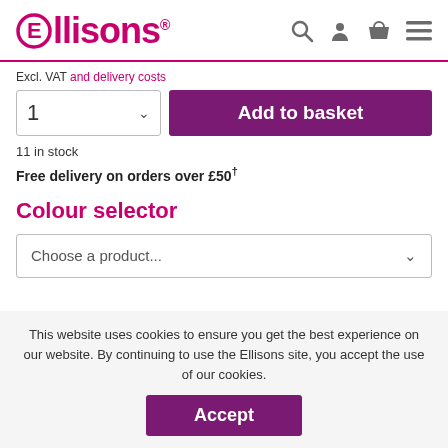Ellisons logo with search, account, basket, and menu icons
Excl. VAT and delivery costs
1  Add to basket
11 in stock
Free delivery on orders over £50†
Colour selector
Choose a product...
This website uses cookies to ensure you get the best experience on our website. By continuing to use the Ellisons site, you accept the use of our cookies.
Accept